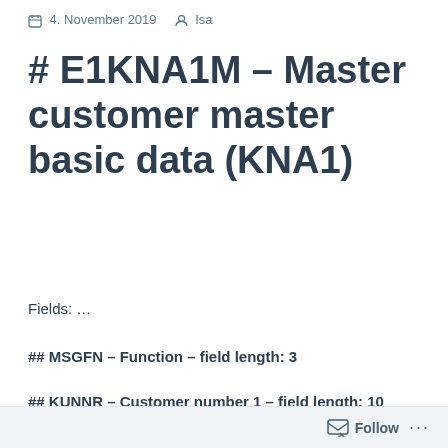4. November 2019   Isa
# E1KNA1M – Master customer master basic data (KNA1)
Fields: …
## MSGFN – Function – field length: 3
## KUNNR – Customer number 1 – field length: 10
Follow